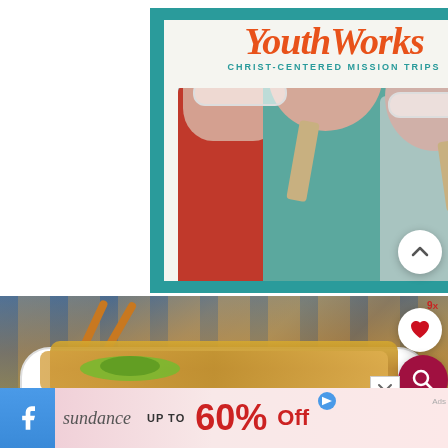[Figure (illustration): YouthWorks Christ-Centered Mission Trips advertisement showing three kids with paint on their faces holding paintbrushes, smiling. Logo in orange script reads 'YouthWorks' with subtitle 'CHRIST-CENTERED MISSION TRIPS' in teal.]
[Figure (photo): Close-up photo of a food dish, appears to be noodles or fries in a bowl with green garnish, on a blue and beige tiled background. Has a heart/favorite button and search button overlaid.]
[Figure (illustration): Sundance advertisement banner at the bottom: 'sundance UP TO 60% Off' on a light pink/lavender gradient background with blue Facebook-style icon on the left.]